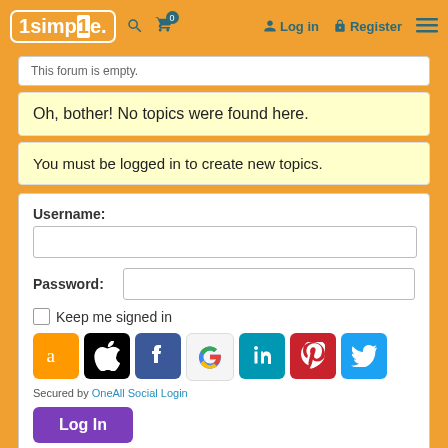1simple. — Log in — Register
This forum is empty.
Oh, bother! No topics were found here.
You must be logged in to create new topics.
Username:
Password:
Keep me signed in
[Figure (screenshot): Social login icons: Amazon, Apple, Facebook, Google, LinkedIn, Pinterest, Twitter]
Secured by OneAll Social Login
Log In